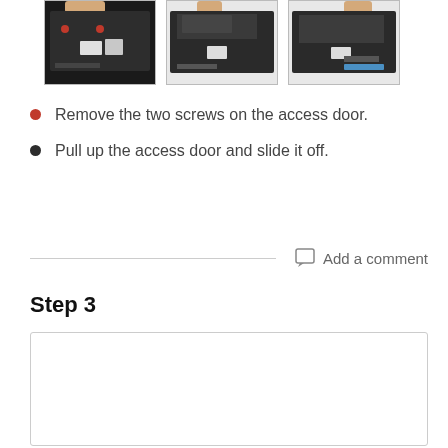[Figure (photo): Three photos showing the bottom of a laptop, demonstrating removal of the access door screws and sliding off the door. Hands are visible in the first two photos.]
Remove the two screws on the access door.
Pull up the access door and slide it off.
Add a comment
Step 3
[Figure (photo): Empty image box for Step 3 content (partially visible at bottom of page).]